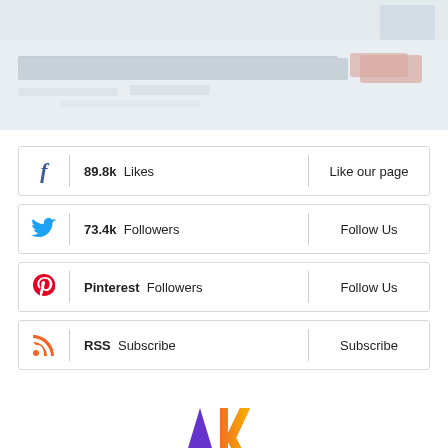[Figure (screenshot): Blurred/faded screenshot or image at top of page with light gray and muted color background elements]
89.8k Likes | Like our page
73.4k Followers | Follow Us
Pinterest Followers | Follow Us
RSS Subscribe | Subscribe
[Figure (logo): AK logo with colorful letters - purple A, orange/yellow K, blue and green arc, forming a stylized brand mark]